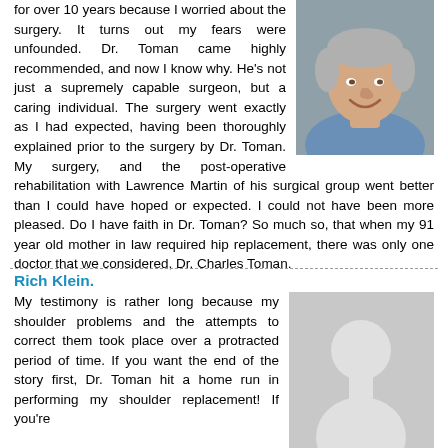for over 10 years because I worried about the surgery. It turns out my fears were unfounded. Dr. Toman came highly recommended, and now I know why. He's not just a supremely capable surgeon, but a caring individual. The surgery went exactly as I had expected, having been thoroughly explained prior to the surgery by Dr. Toman. My surgery, and the post-operative rehabilitation with Lawrence Martin of his surgical group went better than I could have hoped or expected. I could not have been more pleased. Do I have faith in Dr. Toman? So much so, that when my 91 year old mother in law required hip replacement, there was only one doctor that we considered, Dr. Charles Toman.
[Figure (photo): Photo of an older smiling man with grey hair wearing a blue shirt]
Rich Klein.
My testimony is rather long because my shoulder problems and the attempts to correct them took place over a protracted period of time. If you want the end of the story first, Dr. Toman hit a home run in performing my shoulder replacement! If you're
[Figure (illustration): Generic silhouette placeholder avatar image (grey background with white person outline)]